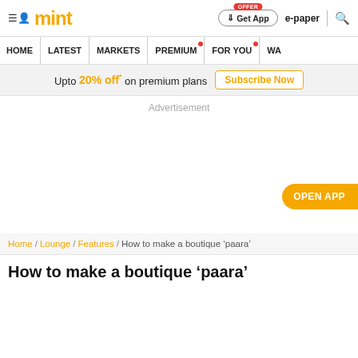mint | Get App | e-paper | Search
HOME | LATEST | MARKETS | PREMIUM | FOR YOU | WA
Upto 20% off* on premium plans Subscribe Now
Advertisement
OPEN APP
Home / Lounge / Features / How to make a boutique 'paara'
How to make a boutique 'paara'